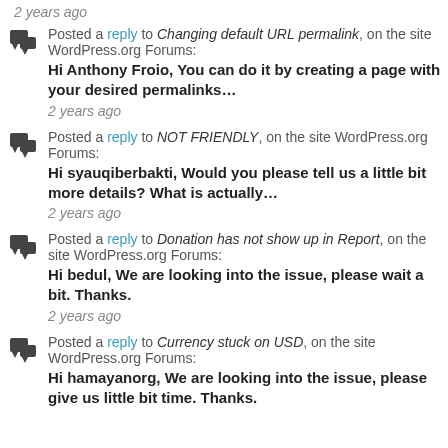2 years ago
Posted a reply to Changing default URL permalink, on the site WordPress.org Forums:
Hi Anthony Froio, You can do it by creating a page with your desired permalinks…
2 years ago
Posted a reply to NOT FRIENDLY, on the site WordPress.org Forums:
Hi syauqiberbakti, Would you please tell us a little bit more details? What is actually…
2 years ago
Posted a reply to Donation has not show up in Report, on the site WordPress.org Forums:
Hi bedul, We are looking into the issue, please wait a bit. Thanks.
2 years ago
Posted a reply to Currency stuck on USD, on the site WordPress.org Forums:
Hi hamayanorg, We are looking into the issue, please give us little bit time. Thanks.